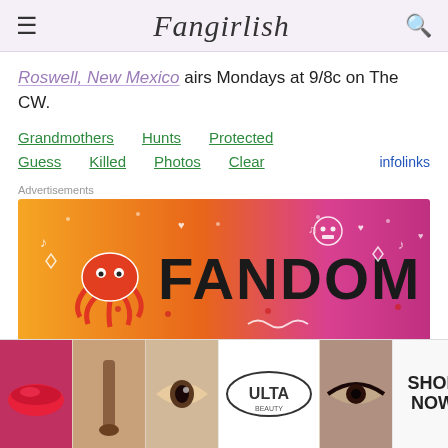Fangirlish
Roswell, New Mexico airs Mondays at 9/8c on The CW.
Grandmothers  Hunts  Protected  Guess  Killed  Photos  Clear  infolinks
Advertisements
[Figure (illustration): Fandom On advertisement banner with orange-to-pink gradient background and white doodle illustrations including a skull, music notes, hearts, and the text FANDOM ON in large black letters]
August 27,  August 27,
[Figure (illustration): Bottom ad strip showing Ulta Beauty advertisement with makeup/beauty photos and SHOP NOW call to action]
infolinks